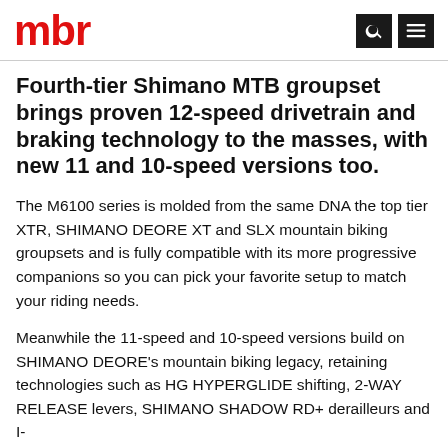mbr
Fourth-tier Shimano MTB groupset brings proven 12-speed drivetrain and braking technology to the masses, with new 11 and 10-speed versions too.
The M6100 series is molded from the same DNA the top tier XTR, SHIMANO DEORE XT and SLX mountain biking groupsets and is fully compatible with its more progressive companions so you can pick your favorite setup to match your riding needs.
Meanwhile the 11-speed and 10-speed versions build on SHIMANO DEORE's mountain biking legacy, retaining technologies such as HG HYPERGLIDE shifting, 2-WAY RELEASE levers, SHIMANO SHADOW RD+ derailleurs and I-